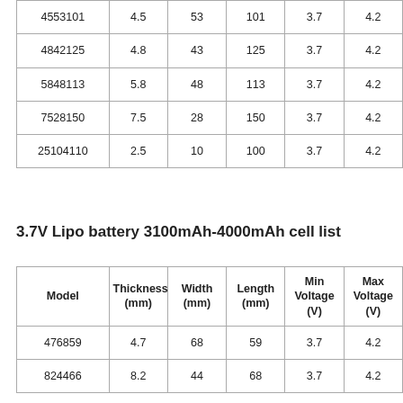| 4553101 | 4.5 | 53 | 101 | 3.7 | 4.2 |
| 4842125 | 4.8 | 43 | 125 | 3.7 | 4.2 |
| 5848113 | 5.8 | 48 | 113 | 3.7 | 4.2 |
| 7528150 | 7.5 | 28 | 150 | 3.7 | 4.2 |
| 25104110 | 2.5 | 10 | 100 | 3.7 | 4.2 |
3.7V Lipo battery 3100mAh-4000mAh cell list
| Model | Thickness (mm) | Width (mm) | Length (mm) | Min Voltage (V) | Max Voltage (V) |
| --- | --- | --- | --- | --- | --- |
| 476859 | 4.7 | 68 | 59 | 3.7 | 4.2 |
| 824466 | 8.2 | 44 | 68 | 3.7 | 4.2 |